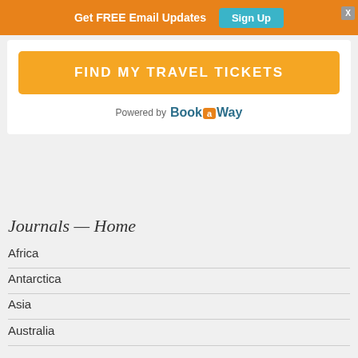Get FREE Email Updates   Sign Up
[Figure (screenshot): Orange notification bar with text 'Get FREE Email Updates' and a teal 'Sign Up' button]
FIND MY TRAVEL TICKETS
Powered by Book a Way
Journals — Home
Africa
Antarctica
Asia
Australia